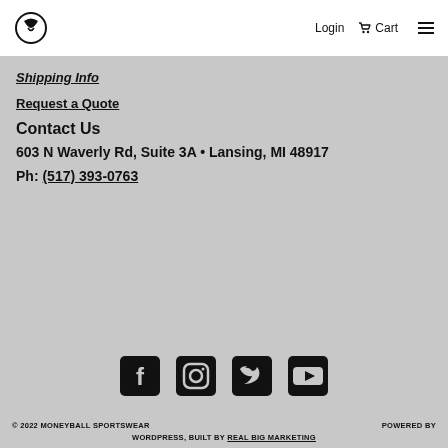Login  Cart  ☰
Shipping Info
Request a Quote
Contact Us
603 N Waverly Rd, Suite 3A • Lansing, MI 48917
Ph: (517) 393-0763
[Figure (other): Social media icons: Facebook, Instagram, Twitter, YouTube]
© 2022 MONEYBALL SPORTSWEAR   POWERED BY WORDPRESS, BUILT BY REAL BIG MARKETING